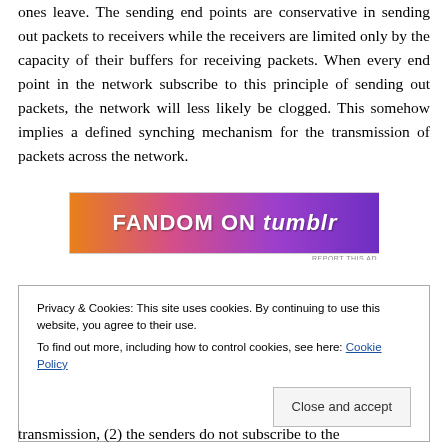ones leave. The sending end points are conservative in sending out packets to receivers while the receivers are limited only by the capacity of their buffers for receiving packets. When every end point in the network subscribe to this principle of sending out packets, the network will less likely be clogged. This somehow implies a defined synching mechanism for the transmission of packets across the network.
[Figure (other): Advertisement banner for FANDOM ON tumblr with colorful gradient background (orange to purple)]
Privacy & Cookies: This site uses cookies. By continuing to use this website, you agree to their use. To find out more, including how to control cookies, see here: Cookie Policy
Close and accept
transmission, (2) the senders do not subscribe to the